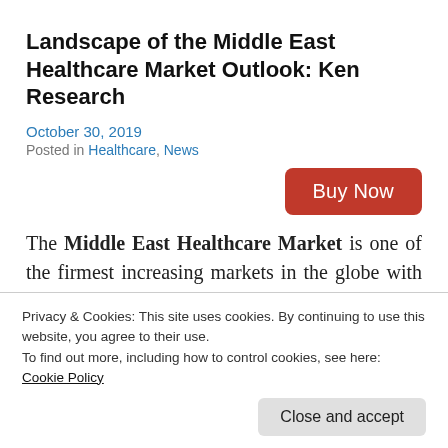Landscape of the Middle East Healthcare Market Outlook: Ken Research
October 30, 2019
Posted in Healthcare, News
Buy Now
The Middle East Healthcare Market is one of the firmest increasing markets in the globe with the handsome growth rate during the reviewed period.
Privacy & Cookies: This site uses cookies. By continuing to use this website, you agree to their use.
To find out more, including how to control cookies, see here: Cookie Policy
Close and accept
technologically    advanced    healthcare